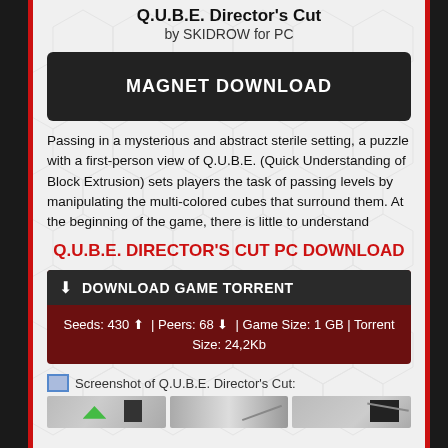Q.U.B.E. Director's Cut by SKIDROW for PC
MAGNET DOWNLOAD
Passing in a mysterious and abstract sterile setting, a puzzle with a first-person view of Q.U.B.E. (Quick Understanding of Block Extrusion) sets players the task of passing levels by manipulating the multi-colored cubes that surround them. At the beginning of the game, there is little to understand
Q.U.B.E. DIRECTOR'S CUT PC DOWNLOAD
DOWNLOAD GAME TORRENT Seeds: 430 ▲ | Peers: 68 ▼ | Game Size: 1 GB | Torrent Size: 24,2Kb
Screenshot of Q.U.B.E. Director's Cut:
[Figure (screenshot): Thumbnail strip showing three screenshots of Q.U.B.E. Director's Cut gameplay]